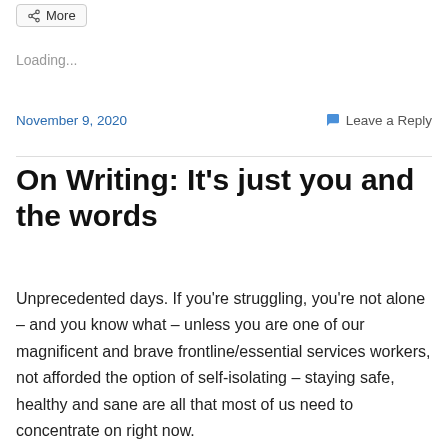[Figure (other): Share button with icon labeled 'More']
Loading...
November 9, 2020    Leave a Reply
On Writing: It's just you and the words
Unprecedented days. If you're struggling, you're not alone – and you know what – unless you are one of our magnificent and brave frontline/essential services workers, not afforded the option of self-isolating – staying safe, healthy and sane are all that most of us need to concentrate on right now.